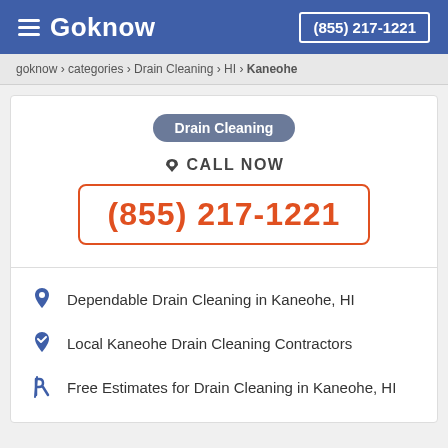Goknow  (855) 217-1221
goknow > categories > Drain Cleaning > HI > Kaneohe
Drain Cleaning
CALL NOW
(855) 217-1221
Dependable Drain Cleaning in Kaneohe, HI
Local Kaneohe Drain Cleaning Contractors
Free Estimates for Drain Cleaning in Kaneohe, HI
Professional Drain Cleaning